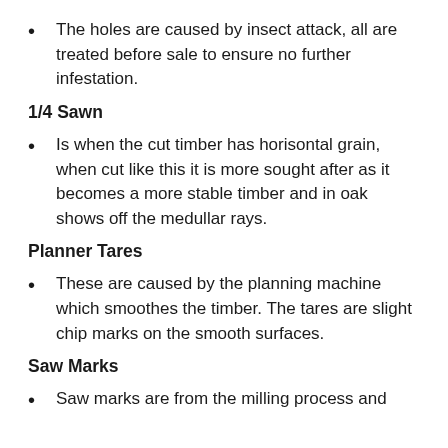The holes are caused by insect attack, all are treated before sale to ensure no further infestation.
1/4 Sawn
Is when the cut timber has horisontal grain, when cut like this it is more sought after as it becomes a more stable timber and in oak shows off the medullar rays.
Planner Tares
These are caused by the planning machine which smoothes the timber. The tares are slight chip marks on the smooth surfaces.
Saw Marks
Saw marks are from the milling process and